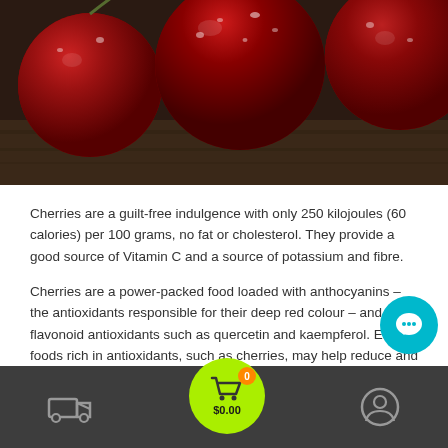[Figure (photo): Close-up photo of fresh dark red cherries with water droplets on a wooden surface]
Cherries are a guilt-free indulgence with only 250 kilojoules (60 calories) per 100 grams, no fat or cholesterol. They provide a good source of Vitamin C and a source of potassium and fibre.
Cherries are a power-packed food loaded with anthocyanins – the antioxidants responsible for their deep red colour – and other flavonoid antioxidants such as quercetin and kaempferol. Eating foods rich in antioxidants, such as cherries, may help reduce and neutralise free radicals and slow the signs of skin ageing.
HOW TO PICK
[Figure (screenshot): Bottom navigation bar with delivery truck icon, shopping cart button with $0.00 and badge showing 0, and user profile icon. Floating chat button in bottom right.]